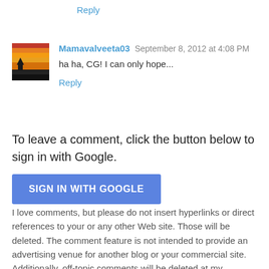Reply
Mamavalveeta03  September 8, 2012 at 4:08 PM
ha ha, CG! I can only hope...
Reply
To leave a comment, click the button below to sign in with Google.
[Figure (other): Blue 'SIGN IN WITH GOOGLE' button]
I love comments, but please do not insert hyperlinks or direct references to your or any other Web site. Those will be deleted. The comment feature is not intended to provide an advertising venue for another blog or your commercial site. Additionally, off-topic comments will be deleted at my discretion. I will NOT publish comments critical of me or other readers. I don't